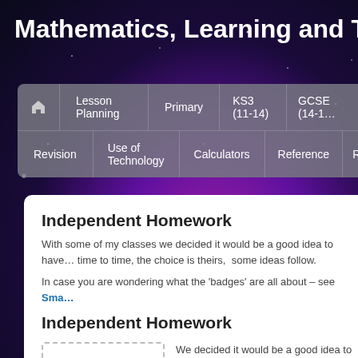Mathematics, Learning and Technolo…
[Figure (screenshot): Navigation bar with dark space background and menu items: home icon, Lesson Planning, Primary, KS3 (11-14), GCSE (14-…), Revision, Use of Technology, Calculators, Reference, R…]
Independent Homework
With some of my classes we decided it would be a good idea to have… time to time, the choice is theirs,  some ideas follow.
In case you are wondering what the 'badges' are all about – see Sma…
Independent Homework
We decided it would be a good idea to ha… sometimes, giving you the freedom to wo…